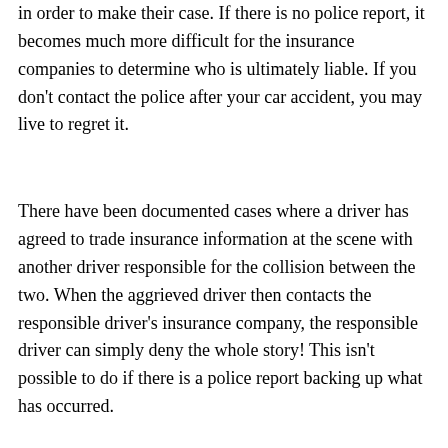strongest pieces of evidence that both sides will turn to in order to make their case. If there is no police report, it becomes much more difficult for the insurance companies to determine who is ultimately liable. If you don't contact the police after your car accident, you may live to regret it.
There have been documented cases where a driver has agreed to trade insurance information at the scene with another driver responsible for the collision between the two. When the aggrieved driver then contacts the responsible driver's insurance company, the responsible driver can simply deny the whole story! This isn't possible to do if there is a police report backing up what has occurred.
Even if you are responsible for the crash, it is best to files a police report so that an accurate record of events can be created. You don't want to leave any room for the story to be changed later on, perhaps to increase your liability and